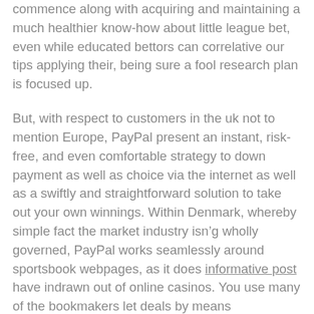commence along with acquiring and maintaining a much healthier know-how about little league bet, even while educated bettors can correlative our tips applying their, being sure a fool research plan is focused up.
But, with respect to customers in the uk not to mention Europe, PayPal present an instant, risk-free, and even comfortable strategy to down payment as well as choice via the internet as well as a swiftly and straightforward solution to take out your own winnings. Within Denmark, whereby simple fact the market industry isn’g wholly governed, PayPal works seamlessly around sportsbook webpages, as it does informative post have indrawn out of online casinos. You use many of the bookmakers let deals by means